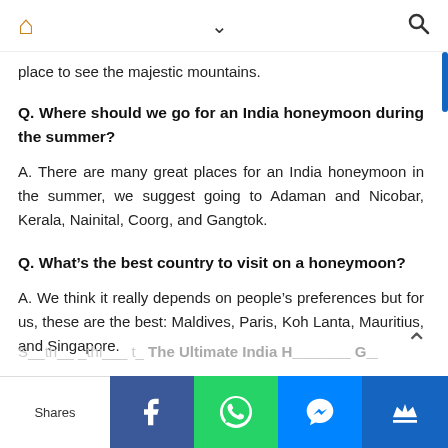Navigation bar with home, chevron, and search icons
place to see the majestic mountains.
Q. Where should we go for an India honeymoon during the summer?
A. There are many great places for an India honeymoon in the summer, we suggest going to Adaman and Nicobar, Kerala, Nainital, Coorg, and Gangtok.
Q. What’s the best country to visit on a honeymoon?
A. We think it really depends on people’s preferences but for us, these are the best: Maldives, Paris, Koh Lanta, Mauritius, and Singapore.
Shares | Facebook | WhatsApp | Messenger | Crown